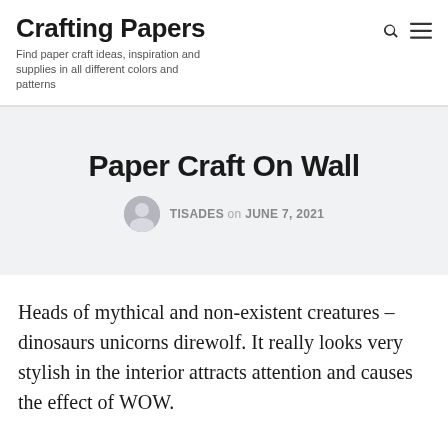Crafting Papers
Find paper craft ideas, inspiration and supplies in all different colors and patterns
Paper Craft On Wall
TISADES on JUNE 7, 2021
Heads of mythical and non-existent creatures – dinosaurs unicorns direwolf. It really looks very stylish in the interior attracts attention and causes the effect of WOW.